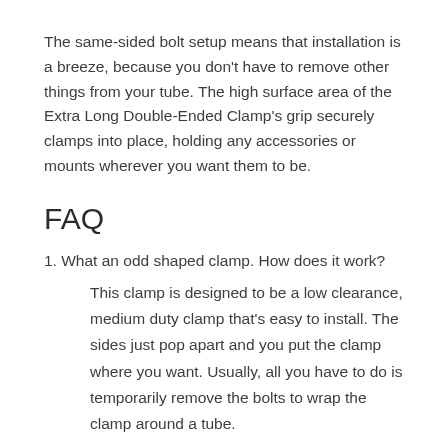The same-sided bolt setup means that installation is a breeze, because you don't have to remove other things from your tube. The high surface area of the Extra Long Double-Ended Clamp's grip securely clamps into place, holding any accessories or mounts wherever you want them to be.
FAQ
1. What an odd shaped clamp. How does it work?
This clamp is designed to be a low clearance, medium duty clamp that's easy to install. The sides just pop apart and you put the clamp where you want. Usually, all you have to do is temporarily remove the bolts to wrap the clamp around a tube.
2. What can I hold with it?
Any round, straight tube that is the right diameter. We an